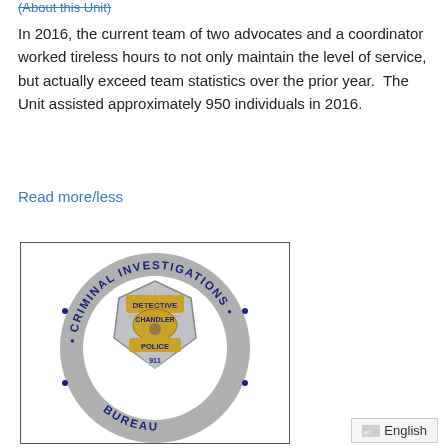(About this Unit)
In 2016, the current team of two advocates and a coordinator worked tireless hours to not only maintain the level of service, but actually exceed team statistics over the prior year.  The Unit assisted approximately 950 individuals in 2016.
Read more/less
[Figure (logo): Chandler Police Criminal Investigations Bureau badge/logo — a circular grey badge with text 'CRIMINAL INVESTIGATIONS' around the outer ring and 'BUREAU' at the bottom, with a detective badge in the center showing 'DETECTIVE CHANDLER POLICE 911']
en English